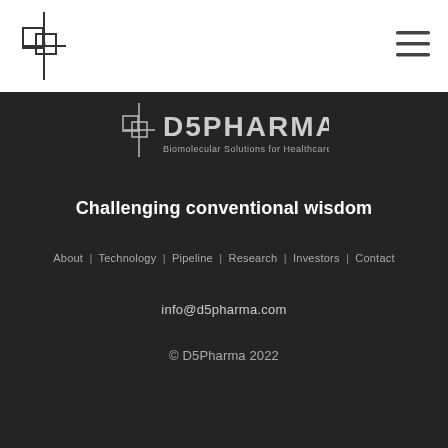[Figure (logo): D5Pharma logo mark — overlapping squares with cross/plus shape in dark outline, small '5' visible inside, top-left of white header bar]
[Figure (other): Hamburger menu icon — three horizontal lines, top-right of white header bar]
[Figure (logo): D5PHARMA logo text with 'Biomolecular Solutions for Healthcare' subtitle in dark section]
Challenging conventional wisdom
About | Technology | Pipeline | Research | Investors | Contact
info@d5pharma.com
© D5Pharma 2022